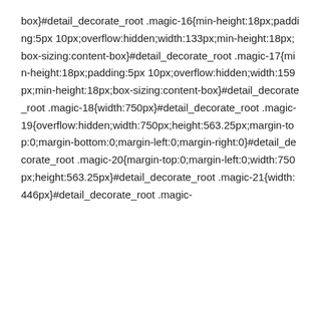box}#detail_decorate_root .magic-16{min-height:18px;padding:5px 10px;overflow:hidden;width:133px;min-height:18px;box-sizing:content-box}#detail_decorate_root .magic-17{min-height:18px;padding:5px 10px;overflow:hidden;width:159px;min-height:18px;box-sizing:content-box}#detail_decorate_root .magic-18{width:750px}#detail_decorate_root .magic-19{overflow:hidden;width:750px;height:563.25px;margin-top:0;margin-bottom:0;margin-left:0;margin-right:0}#detail_decorate_root .magic-20{margin-top:0;margin-left:0;width:750px;height:563.25px}#detail_decorate_root .magic-21{width:446px}#detail_decorate_root .magic-